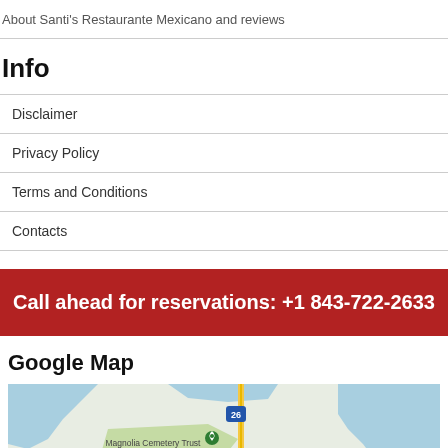About Santi's Restaurante Mexicano and reviews
Info
Disclaimer
Privacy Policy
Terms and Conditions
Contacts
Call ahead for reservations: +1 843-722-2633
Google Map
[Figure (map): Google Map showing Magnolia Cemetery Trust area with road 26 visible, water bodies in blue, green areas, and a location pin marker.]